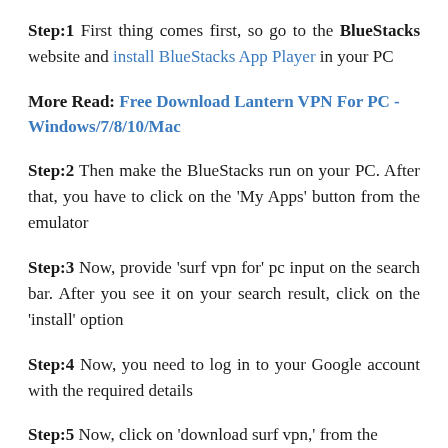Step:1 First thing comes first, so go to the BlueStacks website and install BlueStacks App Player in your PC
More Read: Free Download Lantern VPN For PC - Windows/7/8/10/Mac
Step:2 Then make the BlueStacks run on your PC. After that, you have to click on the 'My Apps' button from the emulator
Step:3 Now, provide 'surf vpn for' pc input on the search bar. After you see it on your search result, click on the 'install' option
Step:4 Now, you need to log in to your Google account with the required details
Step:5 Now, click on 'download surf vpn,' from the